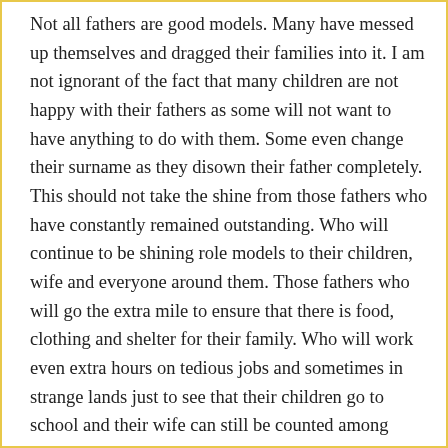Not all fathers are good models. Many have messed up themselves and dragged their families into it. I am not ignorant of the fact that many children are not happy with their fathers as some will not want to have anything to do with them. Some even change their surname as they disown their father completely. This should not take the shine from those fathers who have constantly remained outstanding. Who will continue to be shining role models to their children, wife and everyone around them. Those fathers who will go the extra mile to ensure that there is food, clothing and shelter for their family. Who will work even extra hours on tedious jobs and sometimes in strange lands just to see that their children go to school and their wife can still be counted among other women in the society.
Respect to fathers this day. May God make you better men and fathers and may the world begin to give you the